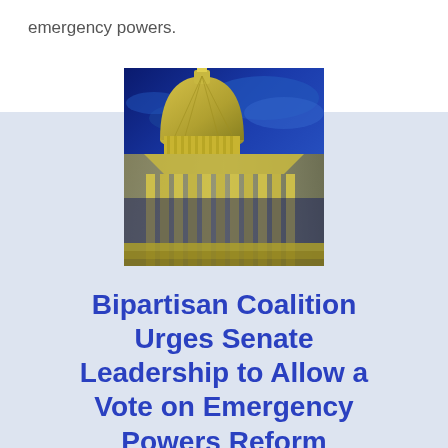emergency powers.
[Figure (photo): Photo of the United States Capitol building dome against a blue sky, with heavy yellow/blue color toning, viewed from below at an angle.]
Bipartisan Coalition Urges Senate Leadership to Allow a Vote on Emergency Powers Reform